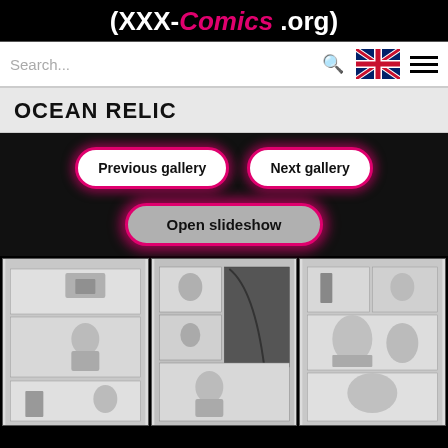(XXX-Comics.org)
Search...
OCEAN RELIC
Previous gallery
Next gallery
Open slideshow
[Figure (illustration): Grayscale manga/comic page thumbnail 1 - character at desk with boat scene]
[Figure (illustration): Grayscale manga/comic page thumbnail 2 - character scenes with dark figure]
[Figure (illustration): Grayscale manga/comic page thumbnail 3 - character scenes with statues and figures]